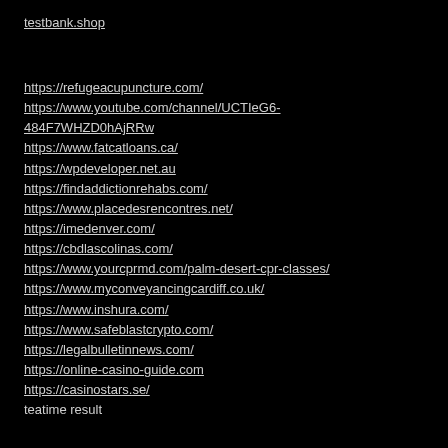testbank.shop
https://refugeacupuncture.com/
https://www.youtube.com/channel/UCTIeG6-484F7WHZD0hAjRRw
https://www.fatcatloans.ca/
https://wpdeveloper.net.au
https://findaddictionrehabs.com/
https://www.placedesrencontres.net/
https://imedenver.com/
https://cbdlascolinas.com/
https://www.yourcprmd.com/palm-desert-cpr-classes/
https://www.myconveyancingcardiff.co.uk/
https://www.inshura.com/
https://www.safeblastcrypto.com/
https://legalbulletinnews.com/
https://online-casino-guide.com
https://casinostars.se/
teatime result